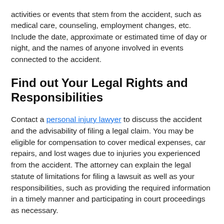activities or events that stem from the accident, such as medical care, counseling, employment changes, etc. Include the date, approximate or estimated time of day or night, and the names of anyone involved in events connected to the accident.
Find out Your Legal Rights and Responsibilities
Contact a personal injury lawyer to discuss the accident and the advisability of filing a legal claim. You may be eligible for compensation to cover medical expenses, car repairs, and lost wages due to injuries you experienced from the accident. The attorney can explain the legal statute of limitations for filing a lawsuit as well as your responsibilities, such as providing the required information in a timely manner and participating in court proceedings as necessary.
A personal injury case may be needed to help you recover